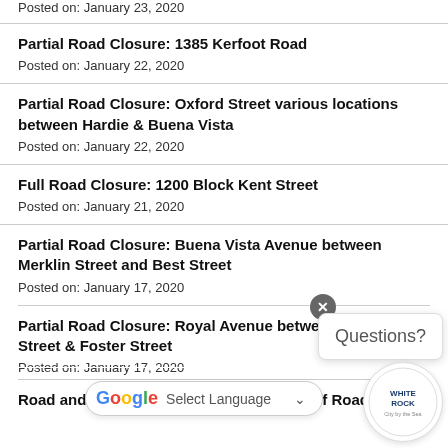Posted on: January 23, 2020
Partial Road Closure: 1385 Kerfoot Road
Posted on: January 22, 2020
Partial Road Closure: Oxford Street various locations between Hardie & Buena Vista
Posted on: January 22, 2020
Full Road Closure: 1200 Block Kent Street
Posted on: January 21, 2020
Partial Road Closure: Buena Vista Avenue between Merklin Street and Best Street
Posted on: January 17, 2020
Partial Road Closure: Royal Avenue between [Merklin] Street & Foster Street
Posted on: January 17, 2020
Road and Lane Closures: 14022 North Bluff Road -